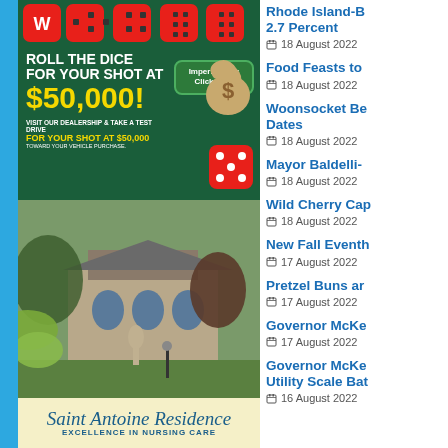[Figure (advertisement): Imperial Cars 'Roll the Dice for your shot at $50,000' promotion advertisement with casino dice imagery and money bag]
[Figure (advertisement): Saint Antoine Residence - Excellence in Nursing Care advertisement with photo of the facility grounds]
Rhode Island-B 2.7 Percent
18 August 2022
Food Feasts to
18 August 2022
Woonsocket Be Dates
18 August 2022
Mayor Baldelli-
18 August 2022
Wild Cherry Cap
18 August 2022
New Fall Eventh
17 August 2022
Pretzel Buns ar
17 August 2022
Governor McKe
17 August 2022
Governor McKe Utility Scale Bat
16 August 2022